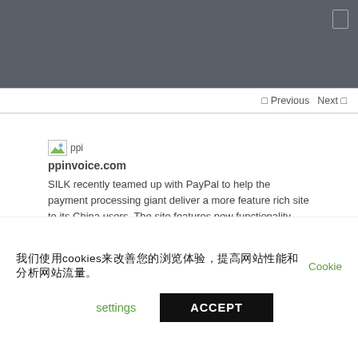Previous  Next
[Figure (logo): Small broken-image icon placeholder for ppi logo]
ppinvoice.com
SILK recently teamed up with PayPal to help the payment processing giant deliver a more feature rich site to its China users. The site features new functionality that helps online merchants easily manage:
Customer data
Recurring billing
Multi-currency invoicing
我们使用cookies来改善您的浏览体验，提高网站性能和分析网站流量。 Cookie settings
settings  ACCEPT